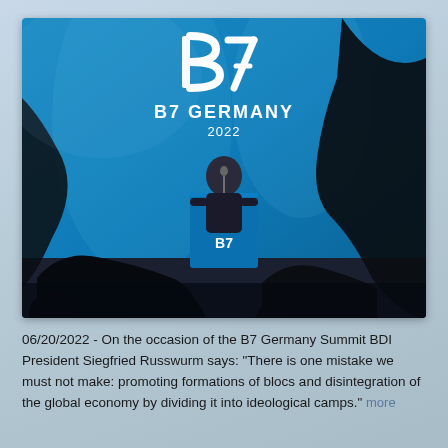[Figure (photo): A speaker stands at a blue podium with a B7 logo at the B7 Germany 2022 summit. The background shows a large blue banner with the B7 logo and text 'B7 GERMANY 2022'. The foreground shows the silhouettes of audience members.]
06/20/2022 - On the occasion of the B7 Germany Summit BDI President Siegfried Russwurm says: "There is one mistake we must not make: promoting formations of blocs and disintegration of the global economy by dividing it into ideological camps." more